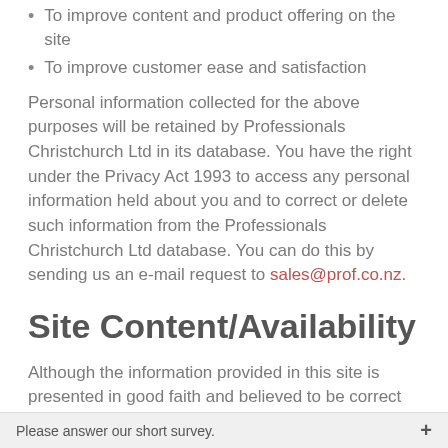To improve content and product offering on the site
To improve customer ease and satisfaction
Personal information collected for the above purposes will be retained by Professionals Christchurch Ltd in its database. You have the right under the Privacy Act 1993 to access any personal information held about you and to correct or delete such information from the Professionals Christchurch Ltd database. You can do this by sending us an e-mail request to sales@prof.co.nz.
Site Content/Availability
Although the information provided in this site is presented in good faith and believed to be correct as at the date it was submitted, we make no warranties or representations about the accuracy or completeness of
Please answer our short survey.